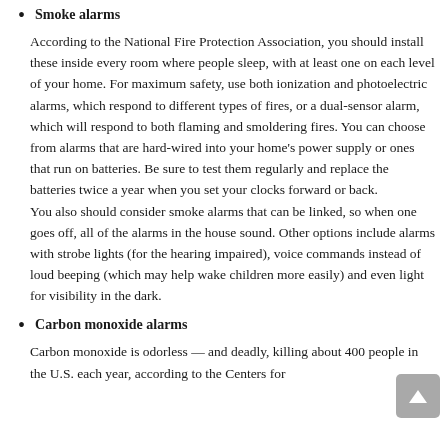Smoke alarms
According to the National Fire Protection Association, you should install these inside every room where people sleep, with at least one on each level of your home. For maximum safety, use both ionization and photoelectric alarms, which respond to different types of fires, or a dual-sensor alarm, which will respond to both flaming and smoldering fires. You can choose from alarms that are hard-wired into your home's power supply or ones that run on batteries. Be sure to test them regularly and replace the batteries twice a year when you set your clocks forward or back.
You also should consider smoke alarms that can be linked, so when one goes off, all of the alarms in the house sound. Other options include alarms with strobe lights (for the hearing impaired), voice commands instead of loud beeping (which may help wake children more easily) and even light for visibility in the dark.
Carbon monoxide alarms
Carbon monoxide is odorless — and deadly, killing about 400 people in the U.S. each year, according to the Centers for